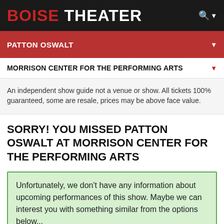BOISE THEATER
PATTON OSWALT
MORRISON CENTER FOR THE PERFORMING ARTS
An independent show guide not a venue or show. All tickets 100% guaranteed, some are resale, prices may be above face value.
SORRY! YOU MISSED PATTON OSWALT AT MORRISON CENTER FOR THE PERFORMING ARTS
Unfortunately, we don't have any information about upcoming performances of this show. Maybe we can interest you with something similar from the options below...
You know the drill, websites need cookies to make them work. Details of how we do it here.
Got it!